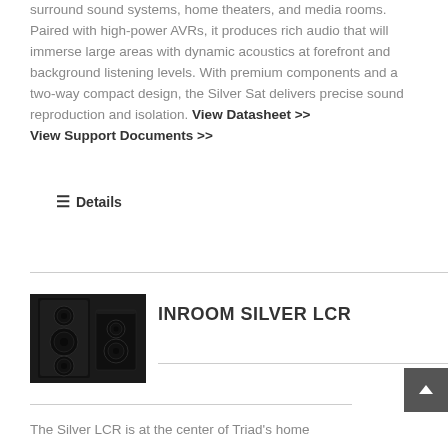surround sound systems, home theaters, and media rooms. Paired with high-power AVRs, it produces rich audio that will immerse large areas with dynamic acoustics at forefront and background listening levels. With premium components and a two-way compact design, the Silver Sat delivers precise sound reproduction and isolation. View Datasheet >> View Support Documents >>
≡ Details
INROOM SILVER LCR
[Figure (photo): Black in-room speakers photographed against a white background]
The Silver LCR is at the center of Triad's home